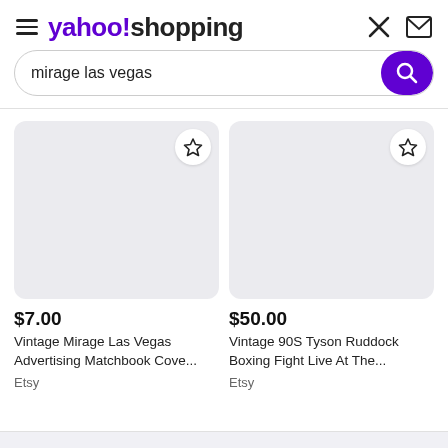yahoo!shopping
mirage las vegas
$7.00
Vintage Mirage Las Vegas Advertising Matchbook Cove...
Etsy
$50.00
Vintage 90S Tyson Ruddock Boxing Fight Live At The...
Etsy